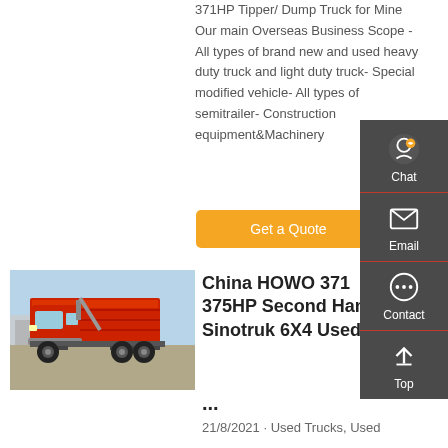371HP Tipper/ Dump Truck for Mine Our main Overseas Business Scope - All types of brand new and used heavy duty truck and light duty truck- Special modified vehicle- All types of semitrailer- Construction equipment&Machinery
Get a Quote
[Figure (photo): Red HOWO dump truck / tipper truck parked in a yard, side and front view, with other trucks in background]
China HOWO 371 375HP Second Hand Sinotruk 6X4 Used ...
21/8/2021 · Used Trucks, Used